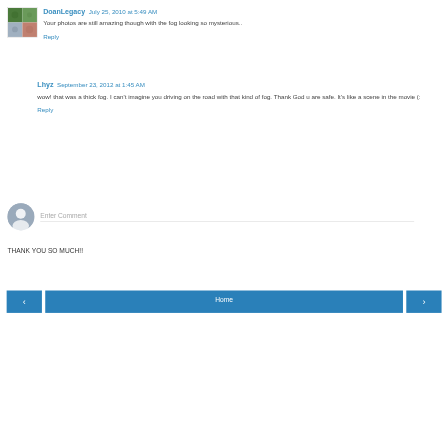DoanLegacy July 25, 2010 at 5:49 AM
Your photos are still amazing though with the fog looking so mysterious..
Reply
Lhyz September 23, 2012 at 1:45 AM
wow! that was a thick fog. I can't imagine you driving on the road with that kind of fog. Thank God u are safe. It's like a scene in the movie (:
Reply
Enter Comment
THANK YOU SO MUCH!!
Home